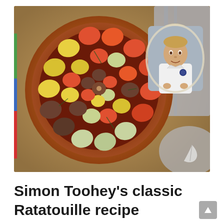[Figure (photo): Overhead photograph of a classic Ratatouille dish in a round terracotta clay baking dish, showing thinly sliced vegetables (tomatoes, zucchini, yellow squash, eggplant) arranged in an overlapping circular spiral pattern over a dark tomato sauce. In the top-right corner, a circular inset portrait of a smiling young male chef in a white chef's coat. A vertical color strip of green, blue, and red runs along the left edge of the photo. A small white leaf logo appears in the lower-right corner of the photo.]
Simon Toohey's classic Ratatouille recipe